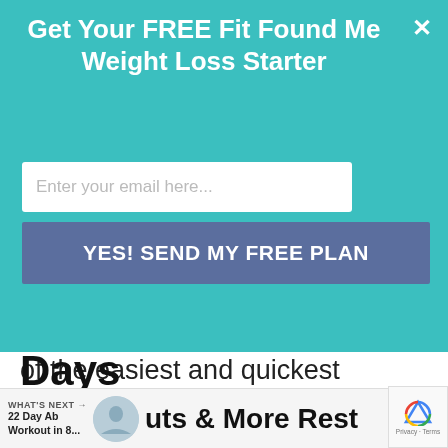Get Your FREE Fit Found Me Weight Loss Starter
Enter your email here...
YES! SEND MY FREE PLAN
of the easiest and quickest workouts to lose fat, tone muscles and lose weight.
Reducing Cortisol Levels Through Shorter Workouts & More Rest Days